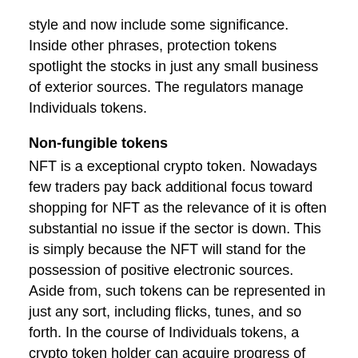style and now include some significance. Inside other phrases, protection tokens spotlight the stocks in just any small business of exterior sources. The regulators manage Individuals tokens.
Non-fungible tokens
NFT is a exceptional crypto token. Nowadays few traders pay back additional focus toward shopping for NFT as the relevance of it is often substantial no issue if the sector is down. This is simply because the NFT will stand for the possession of positive electronic sources. Aside from, such tokens can be represented in just any sort, including flicks, tunes, and so forth. In the course of Individuals tokens, a crypto token holder can acquire progress of the blockchain technological know-how.